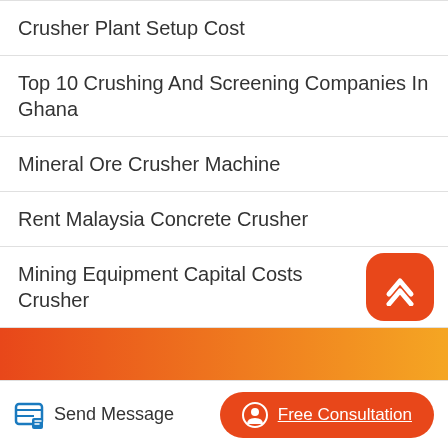Crusher Plant Setup Cost
Top 10 Crushing And Screening Companies In Ghana
Mineral Ore Crusher Machine
Rent Malaysia Concrete Crusher
Mining Equipment Capital Costs Crusher
Gold Crushing Mills Egypt Price
Basalt Crushing Plant Hot Sale In Thailand
[Figure (other): Orange gradient decorative bar]
Send Message
Free Consultation